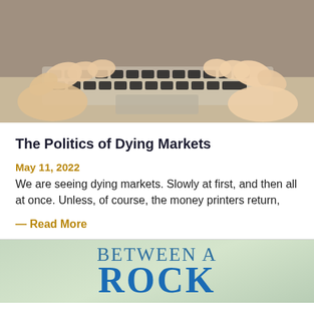[Figure (photo): Close-up photo of two hands typing on a laptop keyboard]
The Politics of Dying Markets
May 11, 2022
We are seeing dying markets. Slowly at first, and then all at once. Unless, of course, the money printers return,
— Read More
[Figure (illustration): Book cover showing text 'BETWEEN A ROCK' with blue lettering on a light green background]